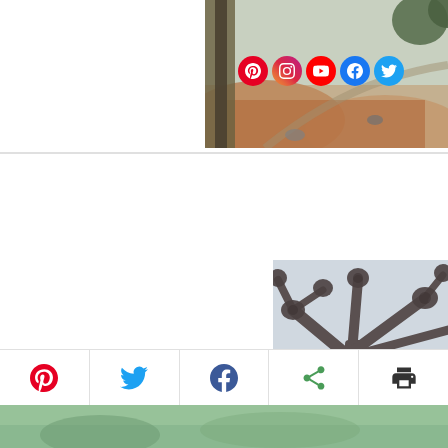[Figure (photo): Outdoor garden/park scene with trees, topiary shrubs, and reddish-brown ground cover. Social media icons (Pinterest, Instagram, YouTube, Facebook, Twitter) overlaid on right portion of image.]
[Figure (photo): Close-up of bare tree branches with bulbous growth nodes/buds at branch tips, against a light grey sky background.]
[Figure (photo): Partial view of green/leafy garden scene at bottom strip.]
Share bar with Pinterest, Twitter, Facebook, Share, and Print buttons